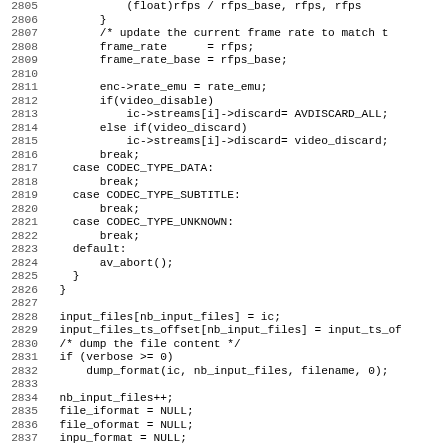Source code listing lines 2805-2837, C programming language, ffmpeg-related code handling frame rate, codec types, and input file operations.